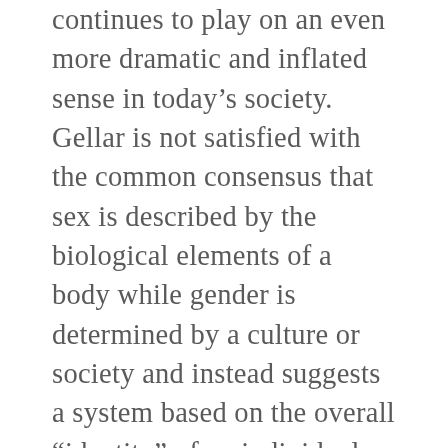continues to play on an even more dramatic and inflated sense in today's society. Gellar is not satisfied with the common consensus that sex is described by the biological elements of a body while gender is determined by a culture or society and instead suggests a system based on the overall “identity” of an individual within a culture. Additionally, Gellar emphasizes the importance of not placing modern cultural constructs onto ancient remains. These ideas remain of importance for this paper, which will closely examine and correlate the lives of ancient and